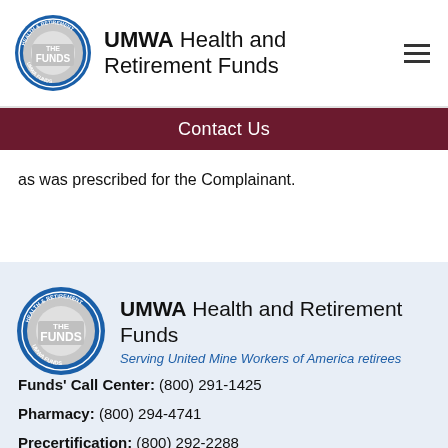UMWA Health and Retirement Funds
Contact Us
as was prescribed for the Complainant.
[Figure (logo): UMWA Health and Retirement Funds circular logo with THE FUNDS text]
UMWA Health and Retirement Funds
Serving United Mine Workers of America retirees
Funds' Call Center: (800) 291-1425
Pharmacy: (800) 294-4741
Precertification: (800) 292-2288